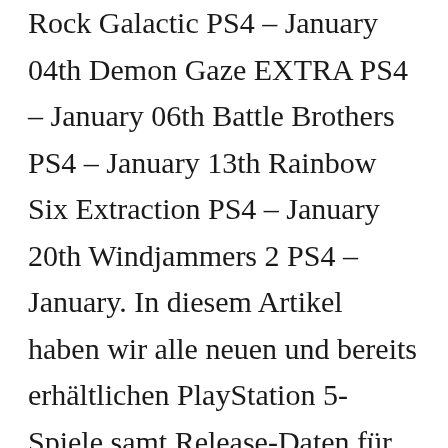Rock Galactic PS4 – January 04th Demon Gaze EXTRA PS4 – January 06th Battle Brothers PS4 – January 13th Rainbow Six Extraction PS4 – January 20th Windjammers 2 PS4 – January. In diesem Artikel haben wir alle neuen und bereits erhältlichen PlayStation 5-Spiele samt Release-Daten für euch gesammelt. 2021 is finally here and for those wanting to know what games will pop up this year for the best games 2021 pc best games 2021 ps4 and best games 2021 xbox heres a list. Upcoming PS4 and PS5 Games – Release Date TBA. The